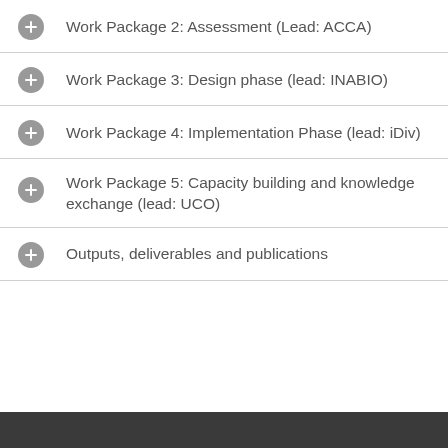Work Package 2: Assessment (Lead: ACCA)
Work Package 3: Design phase (lead: INABIO)
Work Package 4: Implementation Phase (lead: iDiv)
Work Package 5: Capacity building and knowledge exchange (lead: UCO)
Outputs, deliverables and publications